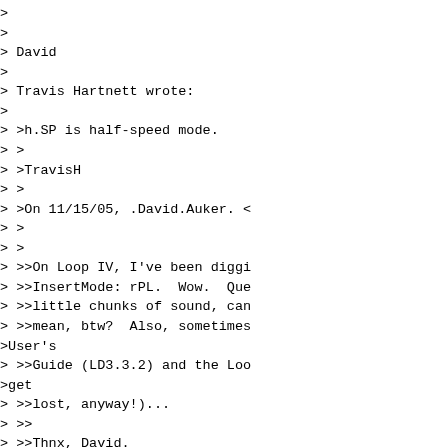> 
> 
> David
> 
> Travis Hartnett wrote:
> 
> >h.SP is half-speed mode.
> >
> >TravisH
> >
> >On 11/15/05, .David.Auker. <
> >
> >
> >>On Loop IV, I've been diggi
> >>InsertMode: rPL.  Wow.  Que
> >>little chunks of sound, can
> >>mean, btw?  Also, sometimes
>User's
> >>Guide (LD3.3.2) and the Loo
>get
> >>lost, anyway!)...
> >>
> >>Thnx, David.
> >>
> >>
> >>
> >>
> >
> >
> >